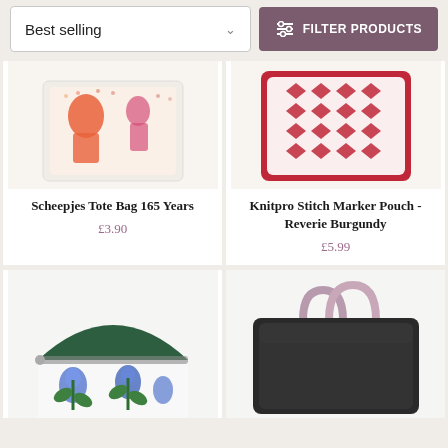Best selling
FILTER PRODUCTS
[Figure (photo): Scheepjes Tote Bag 165 Years - colorful printed canvas tote bag with illustrated figures]
Scheepjes Tote Bag 165 Years
£3.90
[Figure (photo): Knitpro Stitch Marker Pouch - Reverie Burgundy - red and white patterned fabric pouch with leaf motifs]
Knitpro Stitch Marker Pouch - Reverie Burgundy
£5.99
[Figure (photo): Green and white floral fabric coin purse with dark green velvet top and zipper]
[Figure (photo): Black rectangular project bag with colorful floral fabric handles]